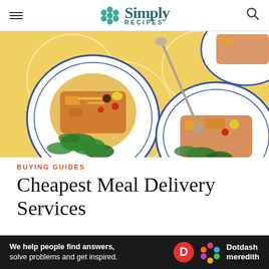Simply Recipes
[Figure (photo): Overhead shot of two pasta dishes on white plates with blue rims, garnished with greens and tomatoes, on a yellow background]
BUYING GUIDES
Cheapest Meal Delivery Services
[Figure (infographic): Dotdash Meredith advertisement bar: 'We help people find answers, solve problems and get inspired.']